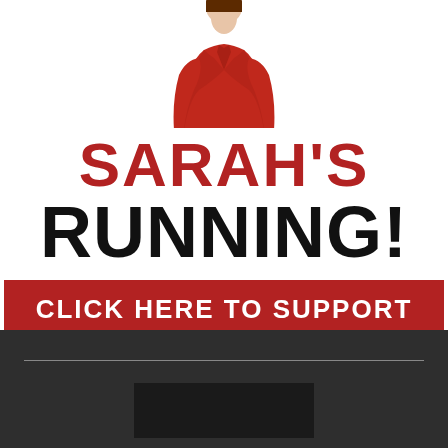[Figure (photo): Woman in red blazer jacket, head and torso, against white background]
SARAH'S RUNNING!
CLICK HERE TO SUPPORT HER
[Figure (other): Dark gray footer bar with horizontal divider line and dark box at bottom]